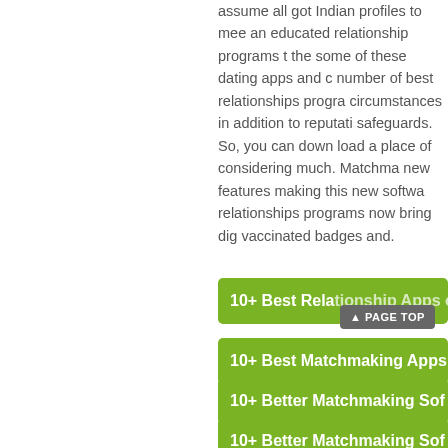assume all got Indian profiles to meet an educated relationship programs to the some of these dating apps and c... number of best relationships progra... circumstances in addition to reputati... safeguards. So, you can down load a... place of considering much. Matchma... new features making this new softwa... relationships programs now bring dig... vaccinated badges and.
10+ Best Relationship Apps o...
10+ Best Matchmaking Apps...
10+ Better Matchmaking Sof...
10+ Better Matchmaking Sof...